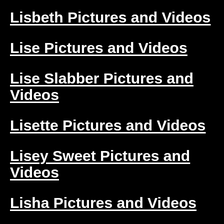Lisbeth Pictures and Videos
Lise Pictures and Videos
Lise Slabber Pictures and Videos
Lisette Pictures and Videos
Lisey Sweet Pictures and Videos
Lisha Pictures and Videos
Lissa Pictures and Videos